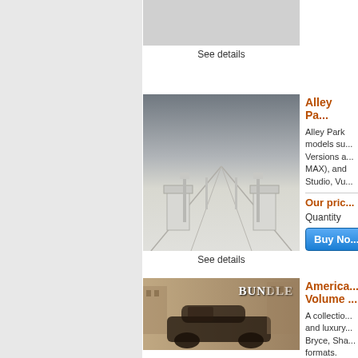[Figure (photo): Gray placeholder product image at top of page]
See details
[Figure (photo): 3D render of Alley Park scene with architectural elements, lamp posts, columns in white/gray tones]
See details
Alley Pa...
Alley Park models su... Versions a... MAX), and... Studio, Vu...
Our pric...
Quantity
[Figure (illustration): Buy Now button (blue gradient)]
America... Volume ...
A collectio... and luxury... Bryce, Sha... formats.
Our pri...
[Figure (photo): Sepia-toned image of vintage American car (early 1900s automobile) with BUNDLE watermark text, city buildings in background]